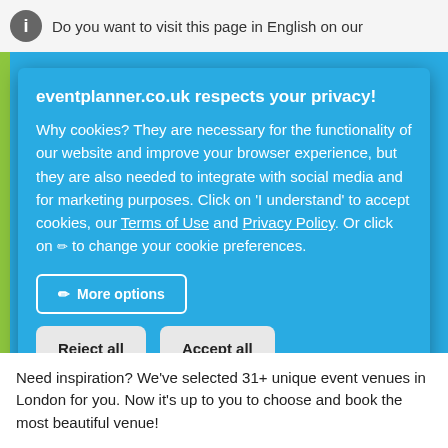Do you want to visit this page in English on our
eventplanner.co.uk respects your privacy!
Why cookies? They are necessary for the functionality of our website and improve your browser experience, but they are also needed to integrate with social media and for marketing purposes. Click on 'I understand' to accept cookies, our Terms of Use and Privacy Policy. Or click on ✏ to change your cookie preferences.
More options
Reject all
Accept all
Need inspiration? We've selected 31+ unique event venues in London for you. Now it's up to you to choose and book the most beautiful venue!